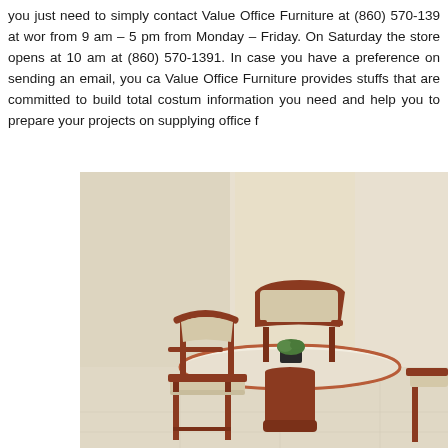you just need to simply contact Value Office Furniture at (860) 570-139 at work from 9 am – 5 pm from Monday – Friday. On Saturday the store opens at 10 am at (860) 570-1391. In case you have a preference on sending an email, you can. Value Office Furniture provides stuffs that are committed to build total costume information you need and help you to prepare your projects on supplying office fu
[Figure (photo): Photo of a round wooden conference/dining table with a cylindrical pedestal base, surrounded by wooden armchairs with beige upholstery, set against a light beige wall with a small potted plant on the table.]